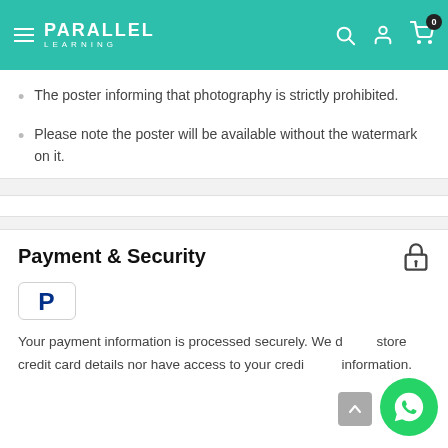Parallel Learning
The poster informing that photography is strictly prohibited.
Please note the poster will be available without the watermark on it.
Payment & Security
[Figure (logo): PayPal payment badge icon]
Your payment information is processed securely. We do not store credit card details nor have access to your credit card information.